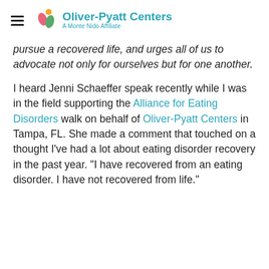Oliver-Pyatt Centers — A Monte Nido Affiliate
pursue a recovered life, and urges all of us to advocate not only for ourselves but for one another.
I heard Jenni Schaeffer speak recently while I was in the field supporting the Alliance for Eating Disorders walk on behalf of Oliver-Pyatt Centers in Tampa, FL. She made a comment that touched on a thought I've had a lot about eating disorder recovery in the past year. "I have recovered from an eating disorder. I have not recovered from life."